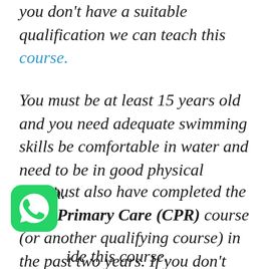you don't have a suitable qualification we can teach this course.
You must be at least 15 years old and you need adequate swimming skills be comfortable in water and need to be in good physical health.
You must also have completed the EFR Primary Care (CPR) course (or another qualifying course) in the past two years. If you don't have a suitable qualification we can provide this course.
[Figure (logo): WhatsApp green icon with phone handset symbol]